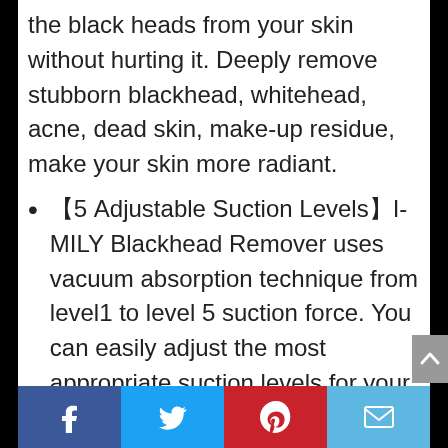the black heads from your skin without hurting it. Deeply remove stubborn blackhead, whitehead, acne, dead skin, make-up residue, make your skin more radiant.
【5 Adjustable Suction Levels】I-MILY Blackhead Remover uses vacuum absorption technique from level1 to level 5 suction force. You can easily adjust the most appropriate suction levels for your different skin areas. The lowest level is suitable for sensitive/dry skin
level 2 is for neutral skin